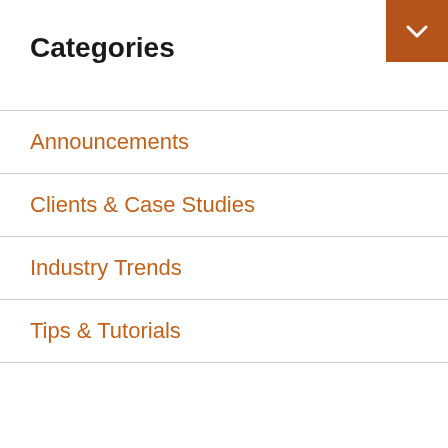Categories
Announcements
Clients & Case Studies
Industry Trends
Tips & Tutorials
We use cookies on this site to improve our service, perform analytics, personalize content and remember website preferences. By using this site, you consent to these cookies. eSite may collect and use personal information that you submit in any manner consistent with our privacy policy. For more information visit our privacy policy. Cookie settings
ACCEPT